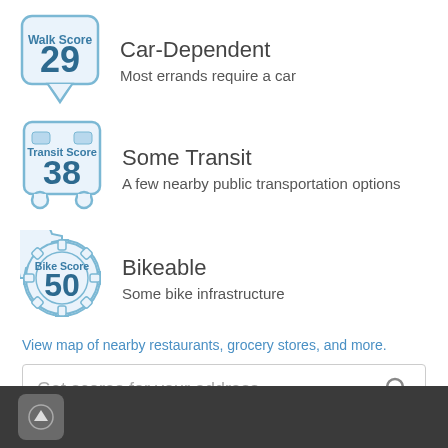[Figure (infographic): Walk Score badge showing score of 29, speech bubble shape, blue border and text]
Car-Dependent
Most errands require a car
[Figure (infographic): Transit Score badge showing score of 38, bus shape icon, blue border and text]
Some Transit
A few nearby public transportation options
[Figure (infographic): Bike Score badge showing score of 50, gear/cog shape, blue border and text]
Bikeable
Some bike infrastructure
View map of nearby restaurants, grocery stores, and more.
Get scores for your address